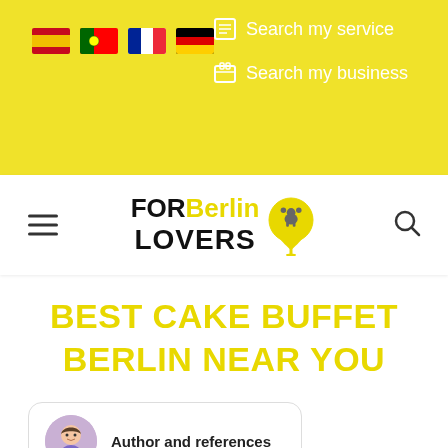[Figure (screenshot): Website header bar with yellow background showing four country flag icons (Spain, Portugal, France, Germany) on the left, and two white text links 'Search my service' and 'Search my business' with icons on the right]
[Figure (logo): FOR Berlin LOVERS logo with black and yellow text and a yellow location pin icon with a bear silhouette]
BEST CAKE BUFFET BERLIN NEAR YOU
Author and references